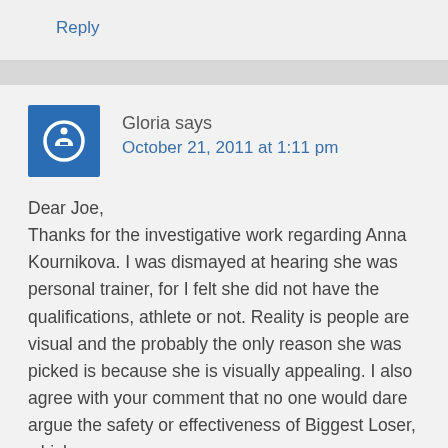Reply
Gloria says
October 21, 2011 at 1:11 pm
Dear Joe,
Thanks for the investigative work regarding Anna Kournikova. I was dismayed at hearing she was personal trainer, for I felt she did not have the qualifications, athlete or not. Reality is people are visual and the probably the only reason she was picked is because she is visually appealing. I also agree with your comment that no one would dare argue the safety or effectiveness of Biggest Loser, which